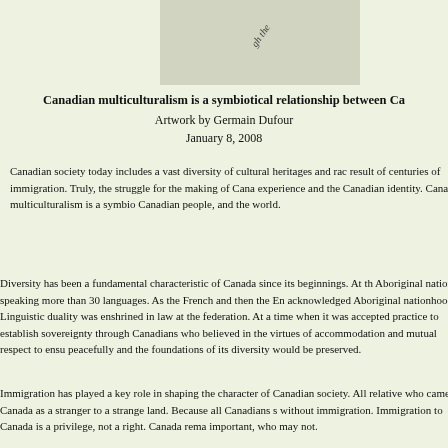[Figure (photo): Top portion of document showing a rotated text/stamp partially visible, on a grayish background]
Canadian multiculturalism is a symbiotical relationship between Ca...
Artwork by Germain Dufour
January 8, 2008
Canadian society today includes a vast diversity of cultural heritages and rac... result of centuries of immigration. Truly, the struggle for the making of Cana... experience and the Canadian identity. Canadian multiculturalism is a symbio... Canadian people, and the world.
Diversity has been a fundamental characteristic of Canada since its beginnings. At th... Aboriginal nations speaking more than 30 languages. As the French and then the En... acknowledged Aboriginal nationhood. Linguistic duality was enshrined in law at the... federation. At a time when it was accepted practice to establish sovereignty through... Canadians who believed in the virtues of accommodation and mutual respect to ensu... peacefully and the foundations of its diversity would be preserved.
Immigration has played a key role in shaping the character of Canadian society. All... relative who came to Canada as a stranger to a strange land. Because all Canadians s... without immigration. Immigration to Canada is a privilege, not a right. Canada rema... important, who may not.